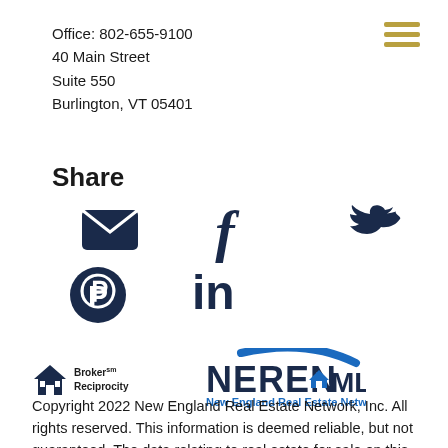Office: 802-655-9100
40 Main Street
Suite 550
Burlington, VT 05401
Share
[Figure (illustration): Social media icons: email/envelope, Pinterest, Facebook, LinkedIn, Twitter/bird]
[Figure (logo): Broker Reciprocity logo (house icon) and NEREN MLS - New England Real Estate Network logo]
Copyright 2022 New England Real Estate Network, Inc. All rights reserved. This information is deemed reliable, but not guaranteed. The data relating to real estate for sale on this web site comes in part from the IDX Program of NEREN. The information being provided is for consumers' personal, non-commercial use and may not be used for any purpose other